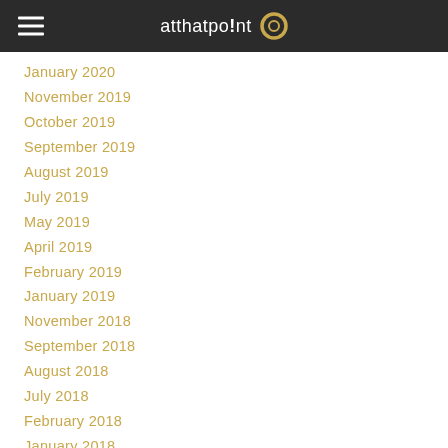atthatpo!nt
January 2020
November 2019
October 2019
September 2019
August 2019
July 2019
May 2019
April 2019
February 2019
January 2019
November 2018
September 2018
August 2018
July 2018
February 2018
January 2018
December 2017
July 2017
June 2017